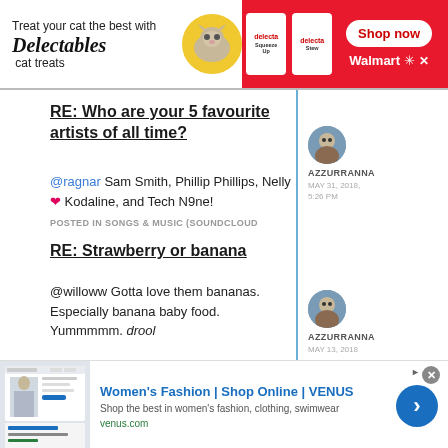[Figure (infographic): Top advertisement banner: Treat your cat the best with Delectables cat treats. Shows cat image, product images, Shop now button, Walmart logo.]
RE: Who are your 5 favourite artists of all time?
@ragnar Sam Smith, Phillip Phillips, Nelly ❤️ Kodaline, and Tech N9ne!
POSTED IN SONGS & MUSIC (SOUNDCLOUD
AZZURRANNA
MAY 31, 2018, 5:26 PM
RE: Strawberry or banana
@willoww Gotta love them bananas. Especially banana baby food. Yummmmm. drool
AZZURRANNA
MAY 13, 2018
[Figure (infographic): Bottom advertisement: Women's Fashion | Shop Online | VENUS. Shop the best in women's fashion, clothing, swimwear. venus.com]